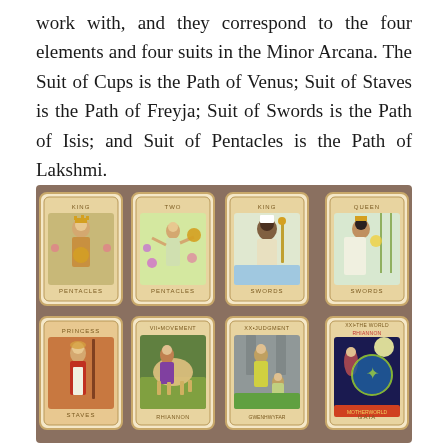work with, and they correspond to the four elements and four suits in the Minor Arcana. The Suit of Cups is the Path of Venus; Suit of Staves is the Path of Freyja; Suit of Swords is the Path of Isis; and Suit of Pentacles is the Path of Lakshmi.
[Figure (photo): A photograph of eight tarot cards arranged in two rows of four on a decorative surface. Top row (left to right): King of Pentacles, Two of Pentacles, King of Swords, Queen of Swords. Bottom row (left to right): Princess of Staves, VII-Movement (Rhiannon), XX-Judgment (Gwenhwyfar), XXI-The World/Gaia.]